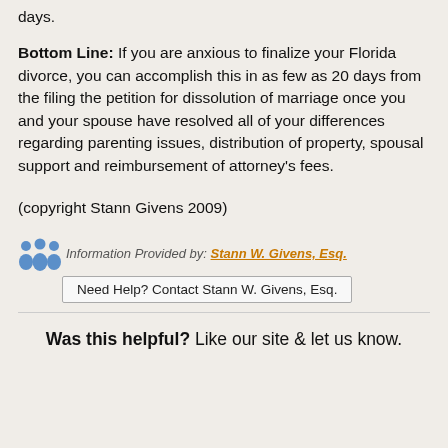days.
Bottom Line: If you are anxious to finalize your Florida divorce, you can accomplish this in as few as 20 days from the filing the petition for dissolution of marriage once you and your spouse have resolved all of your differences regarding parenting issues, distribution of property, spousal support and reimbursement of attorney's fees.
(copyright Stann Givens 2009)
Information Provided by: Stann W. Givens, Esq.
Need Help? Contact Stann W. Givens, Esq.
Was this helpful? Like our site & let us know.